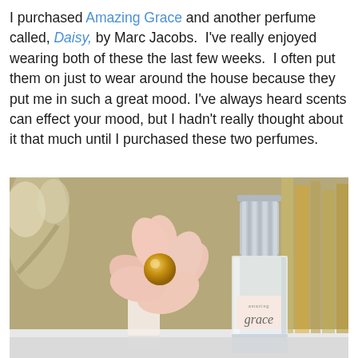I purchased Amazing Grace and another perfume called, Daisy, by Marc Jacobs.  I've really enjoyed wearing both of these the last few weeks.  I often put them on just to wear around the house because they put me in such a great mood. I've always heard scents can effect your mood, but I hadn't really thought about it that much until I purchased these two perfumes.
[Figure (photo): Photo of two perfume bottles on a white surface: on the left, the Marc Jacobs Daisy perfume with a large pink flower-shaped cap, and on the right, the Philosophy Amazing Grace perfume in a clear rectangular bottle with a silver cap, showing the 'amazing grace' label. A blurred floral arrangement is visible in the background on the left, and blurred books on the right.]